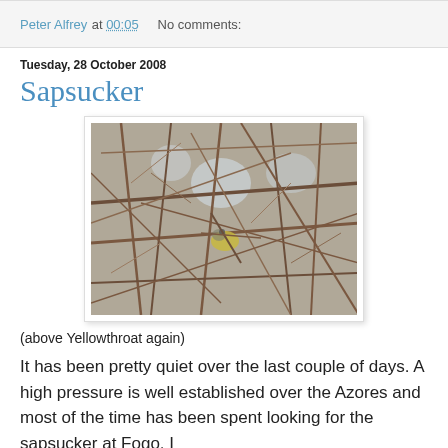Peter Alfrey at 00:05   No comments:
Tuesday, 28 October 2008
Sapsucker
[Figure (photo): A bird (Yellowthroat) partially visible among dense bare brown branches and twigs, photographed in natural setting.]
(above Yellowthroat again)
It has been pretty quiet over the last couple of days. A high pressure is well established over the Azores and most of the time has been spent looking for the sapsucker at Fogo. I